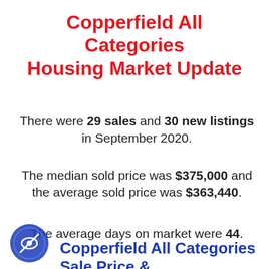Copperfield All Categories Housing Market Update
There were 29 sales and 30 new listings in September 2020.
The median sold price was $375,000 and the average sold price was $363,440.
The average days on market were 44.
Copperfield All Categories Sale Price & Number of New Listings Last 12 months Update